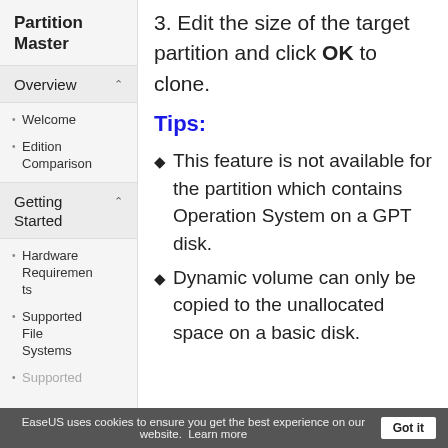Partition Master
Overview
Welcome
Edition Comparison
Getting Started
Hardware Requirements
Supported File Systems
Supported
3. Edit the size of the target partition and click OK to clone.
Tips:
This feature is not available for the partition which contains Operation System on a GPT disk.
Dynamic volume can only be copied to the unallocated space on a basic disk.
EaseUS uses cookies to ensure you get the best experience on our website.  Learn more   Got it